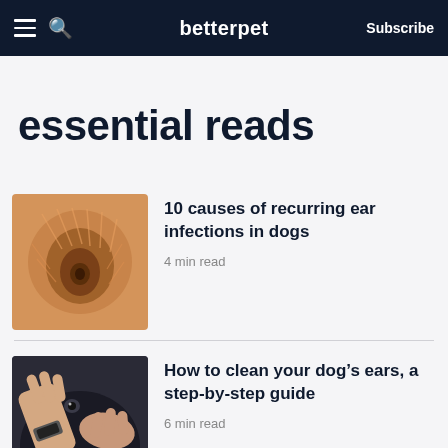betterpet | Subscribe
essential reads
[Figure (photo): Close-up of a dog's ear with golden/orange fur]
10 causes of recurring ear infections in dogs
4 min read
[Figure (photo): Hands cleaning a black dog's ears, person wearing a watch and red leash visible]
How to clean your dog’s ears, a step-by-step guide
6 min read